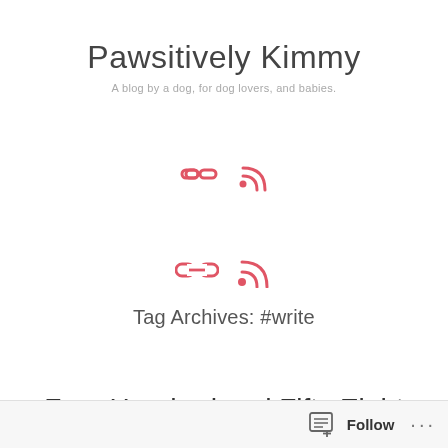Pawsitively Kimmy
A blog by a dog, for dog lovers, and babies.
[Figure (illustration): Two icons: a chain/link icon and an RSS feed icon, both in a coral/pink-red color]
Tag Archives: #write
Four Hundred and Fifty Eight Paws
Dear Kimmy, Hi little doggy of mine, I just love to say silly things like
Follow ...